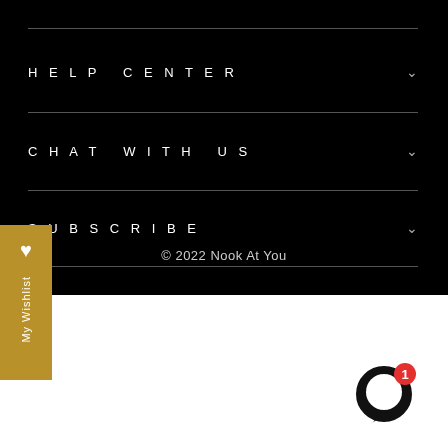HELP CENTER
CHAT WITH US
SUBSCRIBE
© 2022 Nook At You
My Wishlist
[Figure (illustration): Chat bubble icon with notification badge showing number 1]